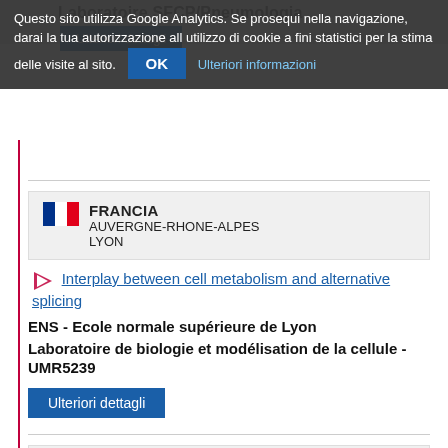Laboratoire SFCP/Pneumologia
Questo sito utilizza Google Analytics. Se prosequi nella navigazione, darai la tua autorizzazione all utilizzo di cookie a fini statistici per la stima delle visite al sito. OK Ulteriori informazioni
[Figure (other): French flag icon]
FRANCIA
AUVERGNE-RHONE-ALPES
LYON
Interplay between cell metabolism and alternative splicing
ENS - Ecole normale supérieure de Lyon
Laboratoire de biologie et modélisation de la cellule - UMR5239
Ulteriori dettagli
[Figure (other): French flag icon (second card)]
FRANCIA
AUVERGNE-RHONE-ALPES